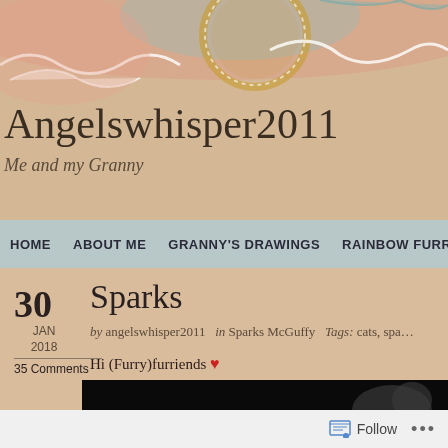[Figure (illustration): Watercolor decorative banner with swirling pink, teal and gold circular design on a warm peachy-tan textured background]
Angelswhisper2011
Me and my Granny
Home  About me  Granny's drawings  Rainbow furriends  P...
30  Sparks
JAN 2018
35 Comments
by angelswhisper2011  in Sparks McGuffy  Tags: cats, spa...
Hi (Furry)furriends ❤
[Figure (photo): Dark/black background photo, partially visible at bottom of page]
Follow  ...